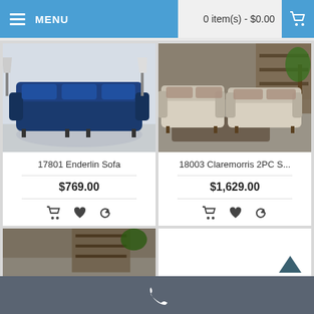MENU   0 item(s) - $0.00
[Figure (photo): Blue sofa in a living room setting with curtains and side tables]
17801 Enderlin Sofa
$769.00
[Figure (photo): Beige 2-piece sofa set in a furniture showroom]
18003 Claremorris 2PC S...
$1,629.00
[Figure (photo): Partial view of a furniture set, bottom row left card]
[Figure (photo): Partial view, bottom row right card (empty/cut off)]
Phone contact bar